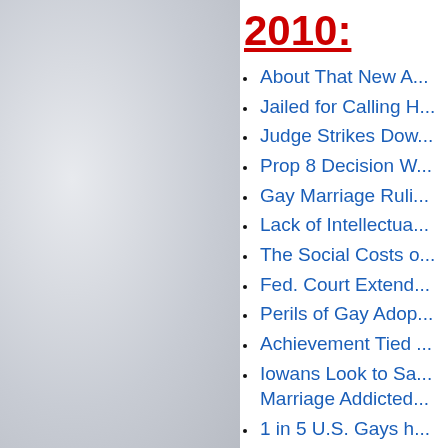[Figure (photo): Light gray/white textured background panel on the left side of the page]
2010:
About That New A...
Jailed for Calling H...
Judge Strikes Dow...
Prop 8 Decision W...
Gay Marriage Ruli...
Lack of Intellectua...
The Social Costs o...
Fed. Court Extend...
Perils of Gay Adop...
Achievement Tied ...
Iowans Look to Sa... Marriage Addicted...
1 in 5 U.S. Gays h...
The Gay Deathstyl...